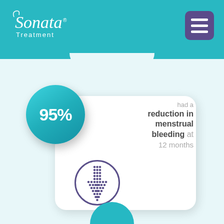Sonata Treatment
[Figure (infographic): 95% had a reduction in menstrual bleeding at 12 months — infographic card with teal circle showing 95%, white rounded card with downward arrow icon inside a circle]
[Figure (illustration): Partial teal circle at the bottom of the page, suggesting another statistic card below]